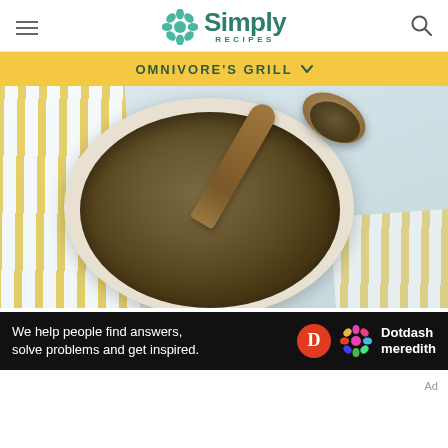Simply Recipes
OMNIVORE'S GRILL
[Figure (photo): Overhead view of a white bowl filled with za'atar spice blend (dark green-brown ground spice), with a wooden spoon resting in the bowl. Yellow and white striped kitchen towel in background.]
HERBS AND SPICES
Homemade Za'atar
[Figure (logo): Dotdash Meredith advertisement banner: 'We help people find answers, solve problems and get inspired.' with Dotdash Meredith logo.]